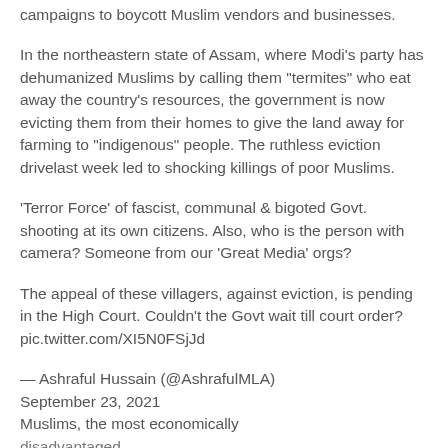campaigns to boycott Muslim vendors and businesses.
In the northeastern state of Assam, where Modi's party has dehumanized Muslims by calling them "termites" who eat away the country's resources, the government is now evicting them from their homes to give the land away for farming to "indigenous" people. The ruthless eviction drivelast week led to shocking killings of poor Muslims.
'Terror Force' of fascist, communal & bigoted Govt. shooting at its own citizens. Also, who is the person with camera? Someone from our 'Great Media' orgs?
The appeal of these villagers, against eviction, is pending in the High Court. Couldn't the Govt wait till court order? pic.twitter.com/XI5N0FSjJd
— Ashraful Hussain (@AshrafulMLA) September 23, 2021
Muslims, the most economically disadvantaged...